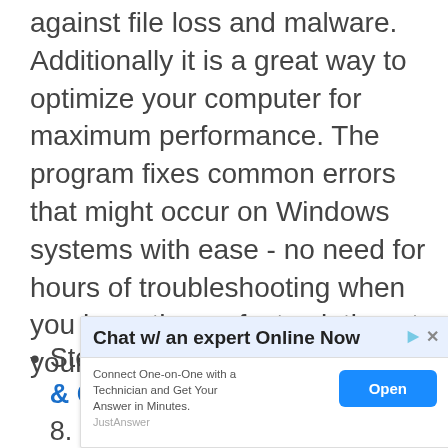against file loss and malware. Additionally it is a great way to optimize your computer for maximum performance. The program fixes common errors that might occur on Windows systems with ease - no need for hours of troubleshooting when you have the perfect solution at your fingertips:
Step 1 : Download PC Repair & Optimizer Tool (Windows 10. 8. 7. XP. Vista – Microsoft
[Figure (other): Advertisement banner: 'Chat w/ an expert Online Now' from JustAnswer. Contains title text, 'Connect One-on-One with a Technician and Get Your Answer in Minutes.' and an 'Open' button.]